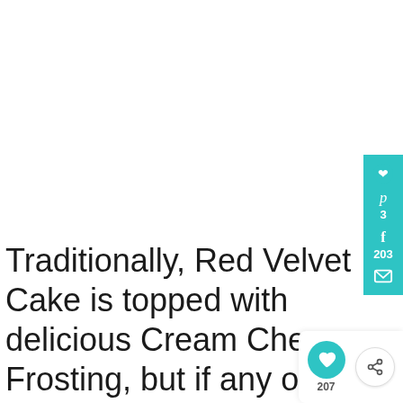Traditionally, Red Velvet Cake is topped with delicious Cream Cheese Frosting, but if any of you guys remember my rant from last week you could probably have guessed that
[Figure (infographic): Social media share sidebar on the right side with teal background showing Pinterest icon with count 3, Facebook icon with count 203, and email icon. Below that, floating buttons with heart icon (207 saves) and share icon.]